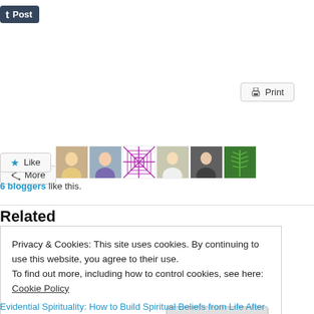[Figure (screenshot): Tumblr Post button - dark blue with 't' icon]
[Figure (screenshot): Print button with printer icon]
[Figure (screenshot): More share button with share icon]
[Figure (screenshot): Like button with star icon and 6 blogger avatars]
6 bloggers like this.
Related
[Figure (photo): Landscape photo with bright light source and cloudy sky in warm brown tones]
Privacy & Cookies: This site uses cookies. By continuing to use this website, you agree to their use.
To find out more, including how to control cookies, see here: Cookie Policy
[Figure (screenshot): Close and accept button]
Evidential Spirituality: How to Build Spiritual Beliefs from Life After